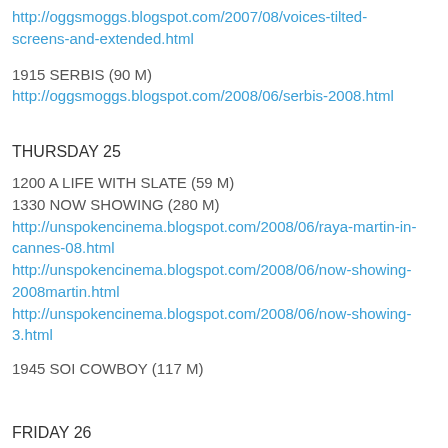http://oggsmoggs.blogspot.com/2007/08/voices-tilted-screens-and-extended.html
1915 SERBIS (90 M)
http://oggsmoggs.blogspot.com/2008/06/serbis-2008.html
THURSDAY 25
1200 A LIFE WITH SLATE (59 M)
1330 NOW SHOWING (280 M)
http://unspokencinema.blogspot.com/2008/06/raya-martin-in-cannes-08.html
http://unspokencinema.blogspot.com/2008/06/now-showing-2008martin.html
http://unspokencinema.blogspot.com/2008/06/now-showing-3.html
1945 SOI COWBOY (117 M)
FRIDAY 26